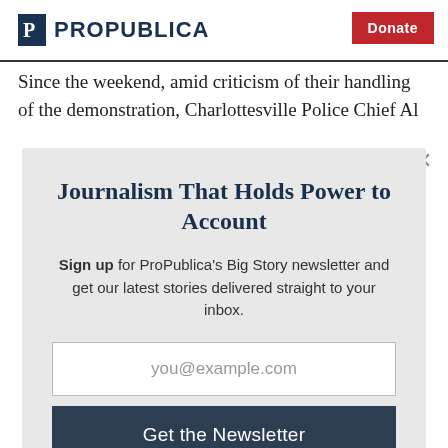ProPublica | Donate
Since the weekend, amid criticism of their handling of the demonstration, Charlottesville Police Chief Al
Journalism That Holds Power to Account
Sign up for ProPublica's Big Story newsletter and get our latest stories delivered straight to your inbox.
you@example.com
Get the Newsletter
No thanks, I'm all set
This site is protected by reCAPTCHA and the Google Privacy Policy and Terms of Service apply.